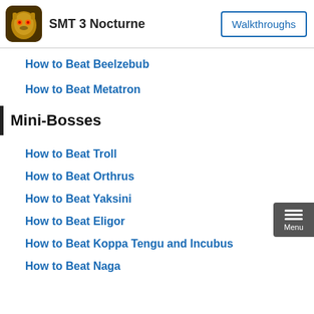SMT 3 Nocturne | Walkthroughs
How to Beat Beelzebub
How to Beat Metatron
Mini-Bosses
How to Beat Troll
How to Beat Orthrus
How to Beat Yaksini
How to Beat Eligor
How to Beat Koppa Tengu and Incubus
How to Beat Naga